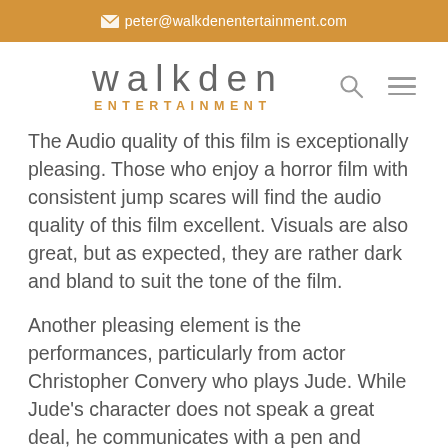peter@walkdenentertainment.com
[Figure (logo): Walkden Entertainment logo with wordmark 'walkden' in grey and 'ENTERTAINMENT' in orange below, with search and menu icons to the right]
The Audio quality of this film is exceptionally pleasing. Those who enjoy a horror film with consistent jump scares will find the audio quality of this film excellent. Visuals are also great, but as expected, they are rather dark and bland to suit the tone of the film.
Another pleasing element is the performances, particularly from actor Christopher Convery who plays Jude. While Jude's character does not speak a great deal, he communicates with a pen and notepad. The expressions with